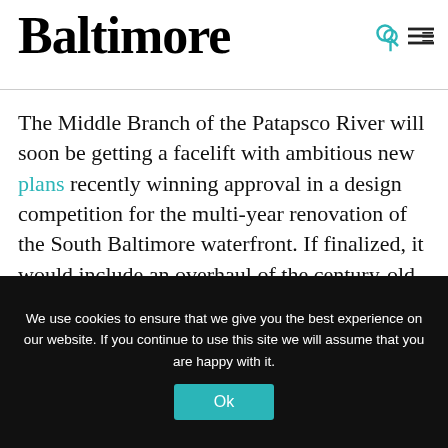Baltimore
The Middle Branch of the Patapsco River will soon be getting a facelift with ambitious new plans recently winning approval in a design competition for the multi-year renovation of the South Baltimore waterfront. If finalized, it would include an overhaul of the century-old
[Figure (infographic): Promotional ad banner with teal background showing a plate of crabs image on the left and bold white text reading 'Wondering where to dine in Charm City?' on the right, with an X close button]
We use cookies to ensure that we give you the best experience on our website. If you continue to use this site we will assume that you are happy with it.
Ok